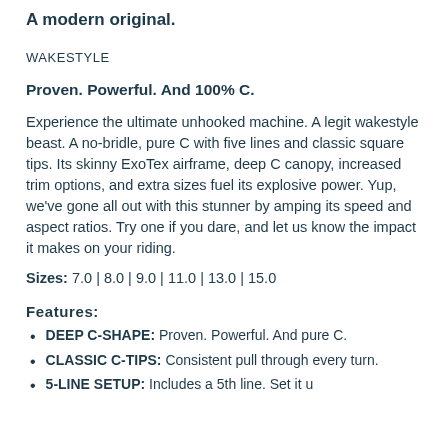A modern original.
WAKESTYLE
Proven. Powerful. And 100% C.
Experience the ultimate unhooked machine. A legit wakestyle beast. A no-bridle, pure C with five lines and classic square tips. Its skinny ExoTex airframe, deep C canopy, increased trim options, and extra sizes fuel its explosive power. Yup, we've gone all out with this stunner by amping its speed and aspect ratios. Try one if you dare, and let us know the impact it makes on your riding.
Sizes: 7.0 | 8.0 | 9.0 | 11.0 | 13.0 | 15.0
Features:
DEEP C-SHAPE: Proven. Powerful. And pure C.
CLASSIC C-TIPS: Consistent pull through every turn.
5-LINE SETUP: Includes a 5th line. Set it up…